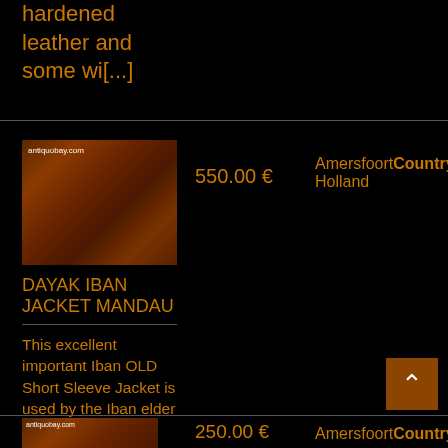hardened leather and some wi[...]
[Figure (photo): Brown/red patterned Dayak Iban jacket displayed against a light background, with antiquobay.com watermark]
550.00 €
AmersfoortCountry: Holland
DAYAK IBAN JACKET MANDAU
This excellent important Iban OLD Short Sleeve Jacket is used by the Iban elder from one of the Long[...]
[Figure (photo): Second item thumbnail image with antiquobay.com watermark]
250.00 €
AmersfoortCountry: